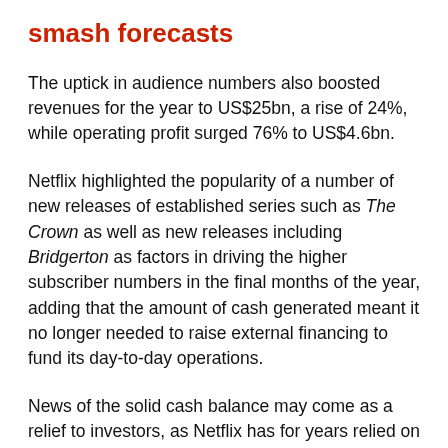smash forecasts
The uptick in audience numbers also boosted revenues for the year to US$25bn, a rise of 24%, while operating profit surged 76% to US$4.6bn.
Netflix highlighted the popularity of a number of new releases of established series such as The Crown as well as new releases including Bridgerton as factors in driving the higher subscriber numbers in the final months of the year, adding that the amount of cash generated meant it no longer needed to raise external financing to fund its day-to-day operations.
News of the solid cash balance may come as a relief to investors, as Netflix has for years relied on large amounts of debt to finance its content creation